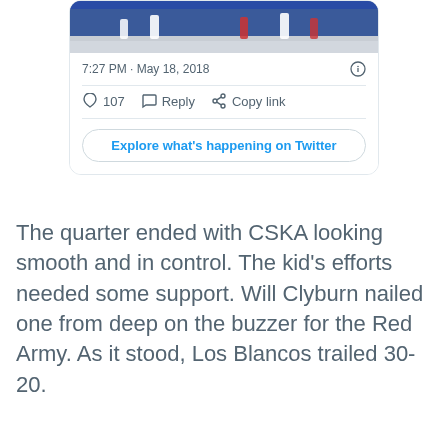[Figure (screenshot): Partial Twitter/X tweet card showing a basketball game image at the top, timestamp '7:27 PM · May 18, 2018', like count 107, Reply and Copy link actions, and an 'Explore what's happening on Twitter' button.]
The quarter ended with CSKA looking smooth and in control. The kid's efforts needed some support. Will Clyburn nailed one from deep on the buzzer for the Red Army. As it stood, Los Blancos trailed 30-20.